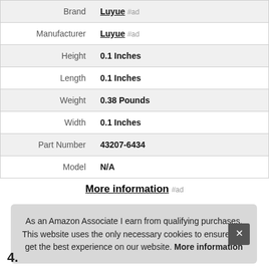| Attribute | Value |
| --- | --- |
| Brand | Luyue #ad |
| Manufacturer | Luyue #ad |
| Height | 0.1 Inches |
| Length | 0.1 Inches |
| Weight | 0.38 Pounds |
| Width | 0.1 Inches |
| Part Number | 43207-6434 |
| Model | N/A |
More information #ad
As an Amazon Associate I earn from qualifying purchases. This website uses the only necessary cookies to ensure you get the best experience on our website. More information